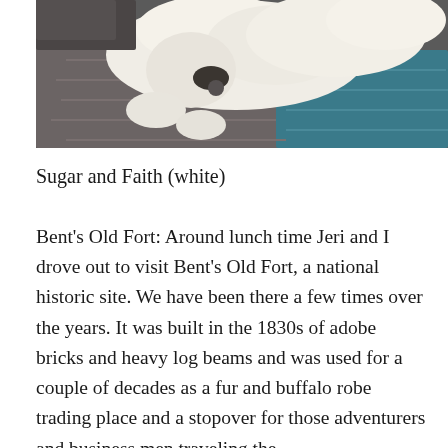[Figure (photo): A white fluffy dog (likely a small breed) lying on knitted/crocheted blankets in dark grey and teal colors, wearing a collar with a tag.]
Sugar and Faith (white)
Bent’s Old Fort: Around lunch time Jeri and I drove out to visit Bent’s Old Fort, a national historic site. We have been there a few times over the years. It was built in the 1830s of adobe bricks and heavy log beams and was used for a couple of decades as a fur and buffalo robe trading place and a stopover for those adventurers and business men traveling the